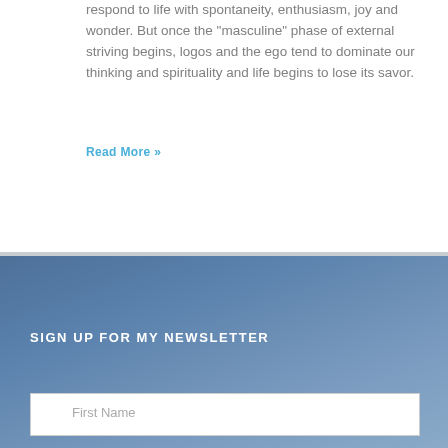respond to life with spontaneity, enthusiasm, joy and wonder. But once the "masculine" phase of external striving begins, logos and the ego tend to dominate our thinking and spirituality and life begins to lose its savor.
Read More »
SIGN UP FOR MY NEWSLETTER
First Name